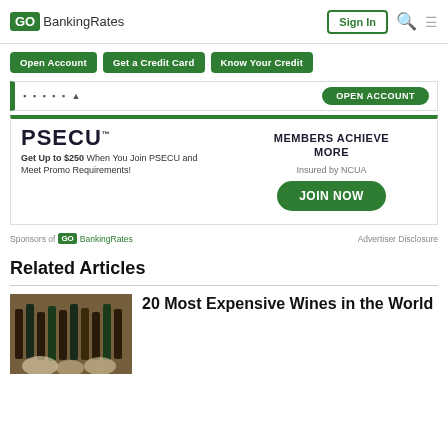GoBankingRates
Open Account | Get a Credit Card | Know Your Credit
[Figure (screenshot): Partially visible bank listing card with OPEN ACCOUNT button]
[Figure (infographic): PSECU advertisement - Get Up to $250 When You Join PSECU and Meet Promo Requirements! MEMBERS ACHIEVE MORE Insured by NCUA JOIN NOW]
Sponsors of GoBankingRates | Advertiser Disclosure
Related Articles
20 Most Expensive Wines in the World
[Figure (photo): Photo of wine bottles on shelves]